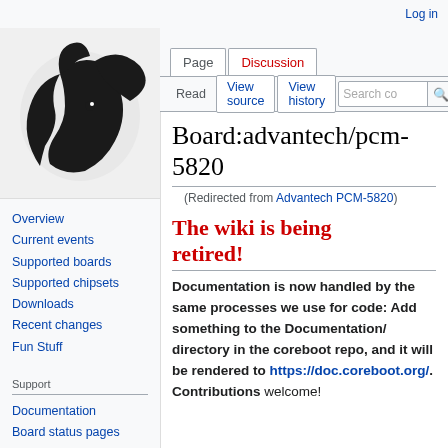Log in
[Figure (logo): coreboot rabbit logo, black silhouette on gray background]
Overview
Current events
Supported boards
Supported chipsets
Downloads
Recent changes
Fun Stuff
Support
Documentation
Board status pages
Issue tracker
Mailinglist
IRC
Board:advantech/pcm-5820
(Redirected from Advantech PCM-5820)
The wiki is being retired!
Documentation is now handled by the same processes we use for code: Add something to the Documentation/ directory in the coreboot repo, and it will be rendered to https://doc.coreboot.org/. Contributions welcome!